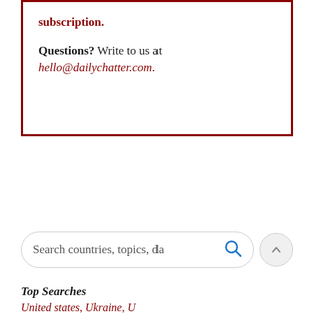subscription.
Questions? Write to us at hello@dailychatter.com.
[Figure (screenshot): Search bar with placeholder text 'Search countries, topics, da' and a blue magnifying glass icon, plus a scroll-up button]
Top Searches
United states, Ukraine, U